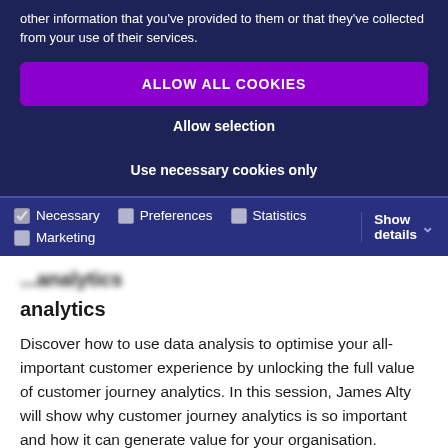other information that you've provided to them or that they've collected from your use of their services.
ALLOW ALL COOKIES
Allow selection
Use necessary cookies only
Necessary  Preferences  Statistics  Marketing  Show details
analytics
Discover how to use data analysis to optimise your all-important customer experience by unlocking the full value of customer journey analytics. In this session, James Alty will show why customer journey analytics is so important and how it can generate value for your organisation. Customer journey analytics has been